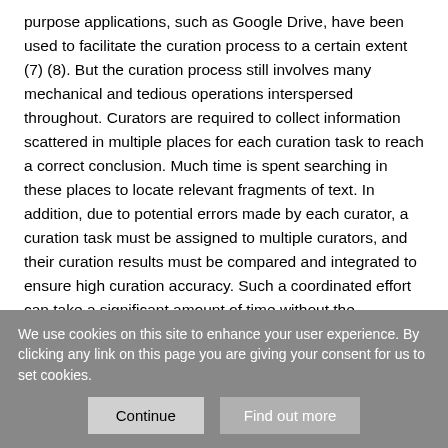purpose applications, such as Google Drive, have been used to facilitate the curation process to a certain extent (7) (8). But the curation process still involves many mechanical and tedious operations interspersed throughout. Curators are required to collect information scattered in multiple places for each curation task to reach a correct conclusion. Much time is spent searching in these places to locate relevant fragments of text. In addition, due to potential errors made by each curator, a curation task must be assigned to multiple curators, and their curation results must be compared and integrated to ensure high curation accuracy. Such a coordinated effort can take a significant amount of time without the assistance of a tool.
We use cookies on this site to enhance your user experience. By clicking any link on this page you are giving your consent for us to set cookies.